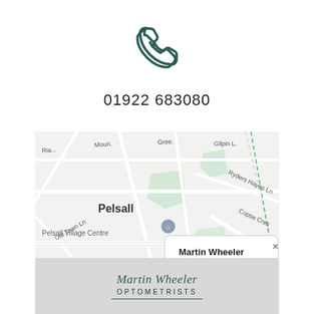[Figure (other): Phone handset icon in dark teal color]
01922 683080
[Figure (map): Google Maps screenshot showing Pelsall area with a popup balloon labeled 'Martin Wheeler' and a 'Directions' link, showing streets including Old Town Ln, Norbury Ave, Ashtree Rd, Chapel St, Church Rd, and landmarks like Pelsall Village Centre and St Michael & All Angels Pelsall Parish Church]
[Figure (logo): Martin Wheeler Optometrists logo — italic serif script 'Martin Wheeler' with 'OPTOMETRISTS' in spaced caps beneath, teal color, on grey background]